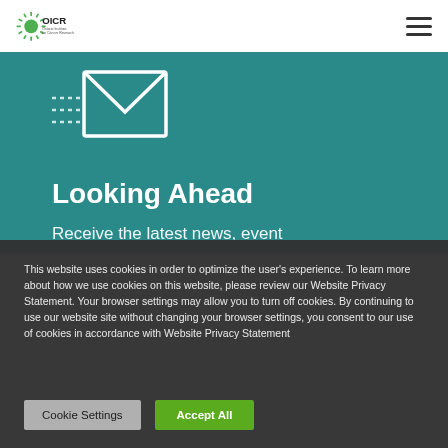[Figure (logo): OICR Ontario Institute for Cancer Research logo with sunburst graphic in green]
[Figure (illustration): Hamburger menu icon (three horizontal lines) in top right corner]
[Figure (illustration): White envelope/email icon on teal background with dotted lines]
Looking Ahead
Receive the latest news, event
This website uses cookies in order to optimize the user's experience. To learn more about how we use cookies on this website, please review our Website Privacy Statement. Your browser settings may allow you to turn off cookies. By continuing to use our website site without changing your browser settings, you consent to our use of cookies in accordance with Website Privacy Statement
Cookie Settings
Accept All